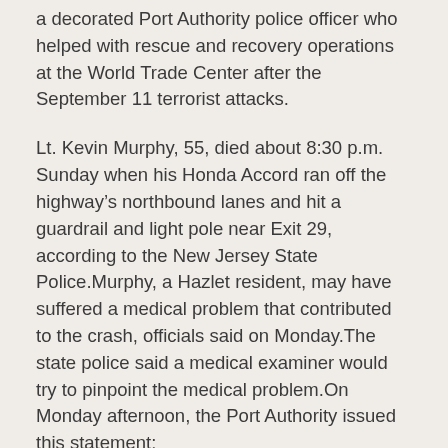a decorated Port Authority police officer who helped with rescue and recovery operations at the World Trade Center after the September 11 terrorist attacks.
Lt. Kevin Murphy, 55, died about 8:30 p.m. Sunday when his Honda Accord ran off the highway's northbound lanes and hit a guardrail and light pole near Exit 29, according to the New Jersey State Police.Murphy, a Hazlet resident, may have suffered a medical problem that contributed to the crash, officials said on Monday.The state police said a medical examiner would try to pinpoint the medical problem.On Monday afternoon, the Port Authority issued this statement:
“The Port Authority family was saddened to learn of the tragic death of Port Authority Police Lt. Kevin Murphy, who died last night in a traffic accident while driving to work at Newark Liberty International Airport. Lt. Murphy